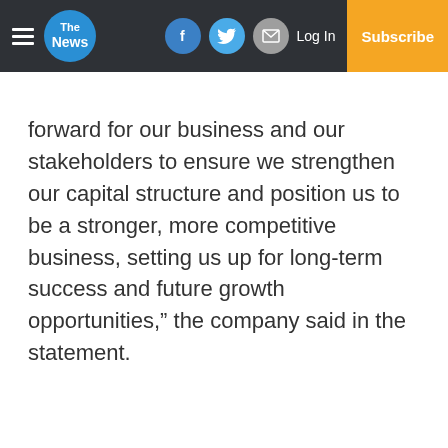The News — navigation bar with logo, social icons, Log In, Subscribe
forward for our business and our stakeholders to ensure we strengthen our capital structure and position us to be a stronger, more competitive business, setting us up for long-term success and future growth opportunities,” the company said in the statement.